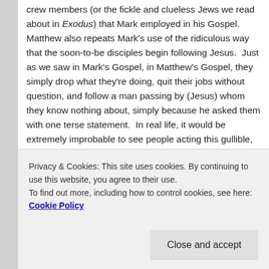crew members (or the fickle and clueless Jews we read about in Exodus) that Mark employed in his Gospel. Matthew also repeats Mark's use of the ridiculous way that the soon-to-be disciples begin following Jesus. Just as we saw in Mark's Gospel, in Matthew's Gospel, they simply drop what they're doing, quit their jobs without question, and follow a man passing by (Jesus) whom they know nothing about, simply because he asked them with one terse statement. In real life, it would be extremely improbable to see people acting this gullible, care-free, and irresponsible, especially when it pertains to how they're going to continue to make a living (having enough food to eat, etc.). However, in myth and (non-realist) fiction, these kinds of silly behaviors happen all the time, and often serve an allegorical purpose and/or serve as a
Privacy & Cookies: This site uses cookies. By continuing to use this website, you agree to their use.
To find out more, including how to control cookies, see here: Cookie Policy
to the tomb narrative and resurrection, where it is